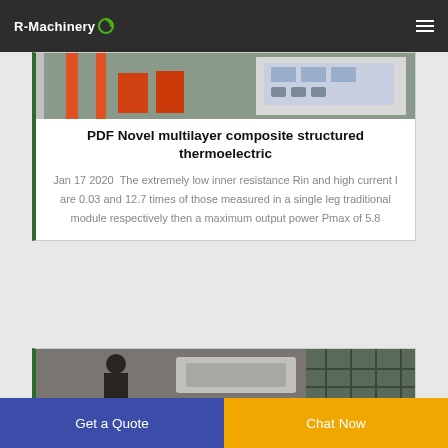R-Machinery
[Figure (photo): Industrial machinery photo showing equipment with orange and metallic components and a control panel]
PDF Novel multilayer composite structured thermoelectric
Jan 17 2020  The extremely low inner resistance Rin and high current I are 0.03 and 12.7 times of those measured in a single leg traditional module respectively then a maximum output power Pmax of 5.8
[Figure (photo): Industrial factory setting with machinery and workers]
Get a Quote
Chat Now